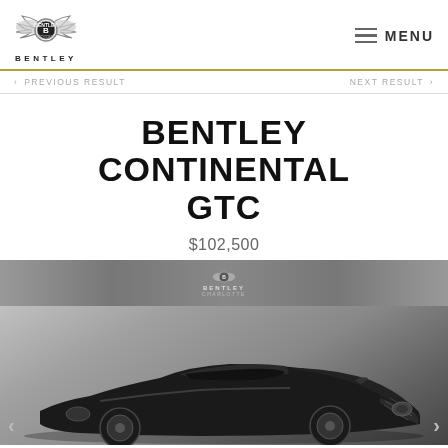[Figure (logo): Bentley winged B logo with BENTLEY wordmark below]
MENU
< PREVIOUS RESULT
NEXT RESULT >
BENTLEY CONTINENTAL GTC
$102,500
[Figure (photo): Dark green/black Bentley Continental GTC convertible photographed from front-left angle in a studio, with Bentley Charlotte dealer logo overlay at top of image]